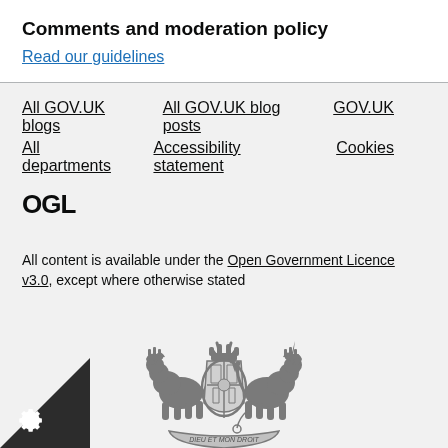Comments and moderation policy
Read our guidelines
All GOV.UK blogs   All GOV.UK blog posts   GOV.UK   All departments   Accessibility statement   Cookies
OGL
All content is available under the Open Government Licence v3.0, except where otherwise stated
[Figure (illustration): UK Royal coat of arms in grey]
© Crown copyright